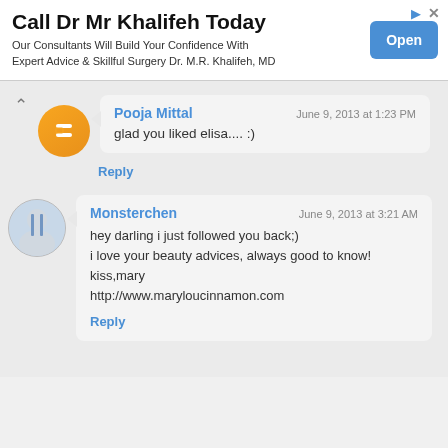[Figure (screenshot): Advertisement banner for Dr. Mr. Khalifeh with Open button]
glad you liked elisa.... :)
hey darling i just followed you back;)
i love your beauty advices, always good to know!
kiss,mary
http://www.maryloucinnamon.com